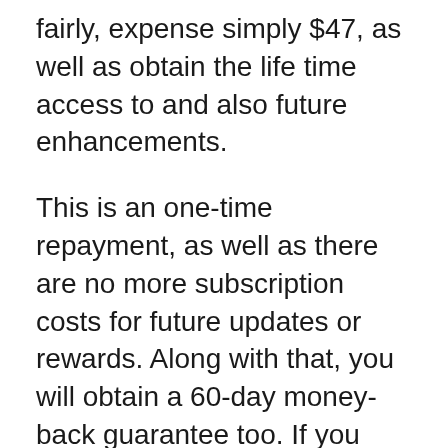fairly, expense simply $47, as well as obtain the life time access to and also future enhancements.
This is an one-time repayment, as well as there are no more subscription costs for future updates or rewards. Along with that, you will obtain a 60-day money-back guarantee too. If you don’t such as the publication, you can obtain a complete refund. But we are positive that you won’t request for a reimbursement as you will certainly like the EZ Battery Reconditioning.
Advantages and disadvantages of EZ Batt...